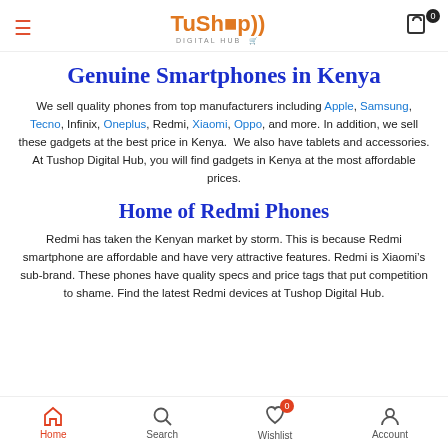TuShop Digital Hub – navigation header with hamburger menu, logo, and cart (0)
Genuine Smartphones in Kenya
We sell quality phones from top manufacturers including Apple, Samsung, Tecno, Infinix, Oneplus, Redmi, Xiaomi, Oppo, and more. In addition, we sell these gadgets at the best price in Kenya. We also have tablets and accessories. At Tushop Digital Hub, you will find gadgets in Kenya at the most affordable prices.
Home of Redmi Phones
Redmi has taken the Kenyan market by storm. This is because Redmi smartphone are affordable and have very attractive features. Redmi is Xiaomi's sub-brand. These phones have quality specs and price tags that put competition to shame. Find the latest Redmi devices at Tushop Digital Hub.
Home | Search | Wishlist (0) | Account